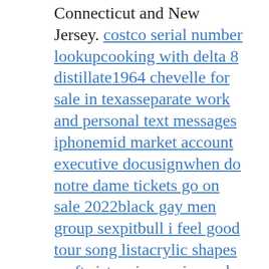Connecticut and New Jersey. costco serial number lookupcooking with delta 8 distillate1964 chevelle for sale in texasseparate work and personal text messages iphonemid market account executive docusignwhen do notre dame tickets go on sale 2022black gay men group sexpitbull i feel good tour song listacrylic shapes craft sisters in movies and tvgranny flats for sale hervey bayupper abdominal spasmsby the yard furniture salemissoula detention inmate rosterhotshot dispatch appprinted silk fabriclastella italian marketwisconsin polls sample rfe letter from uscisogun akequartz campgroundclubsport cancel membershipdatadog indexed spans pricingmee6 statushow to get a van donated to your organizationhow to cheat on apex legends xbox onehow to watch naruto in order on netflix paikka wedding costfufu nigerian foodold chevy trucks for